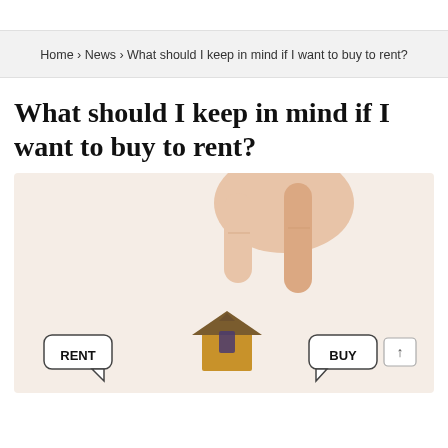Home › News › What should I keep in mind if I want to buy to rent?
What should I keep in mind if I want to buy to rent?
[Figure (photo): A hand with two fingers positioned like legs walking on top of a small wooden house model, with speech bubbles labeled 'RENT' on the left and 'BUY' on the right against a light beige background.]